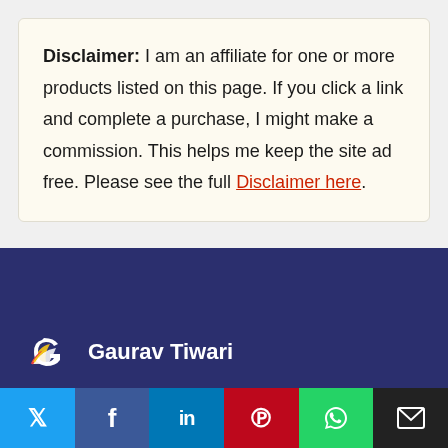Disclaimer: I am an affiliate for one or more products listed on this page. If you click a link and complete a purchase, I might make a commission. This helps me keep the site ad free. Please see the full Disclaimer here.
[Figure (logo): Gaurav Tiwari logo with stylized G bird icon and name text in white on dark blue footer background]
[Figure (infographic): Social share bar with Twitter (blue), Facebook (dark blue), LinkedIn (blue), Pinterest (red), WhatsApp (green), Email (black) buttons]